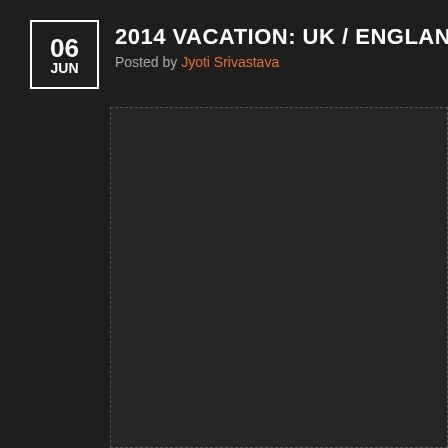06 JUN
2014 VACATION: UK / ENGLAND / LONDON / TRAFAL
Posted by Jyoti Srivastava
[Figure (photo): Large dark image placeholder area, appears to be an embedded photo that did not load, shown as a dark rectangle with dashed border]